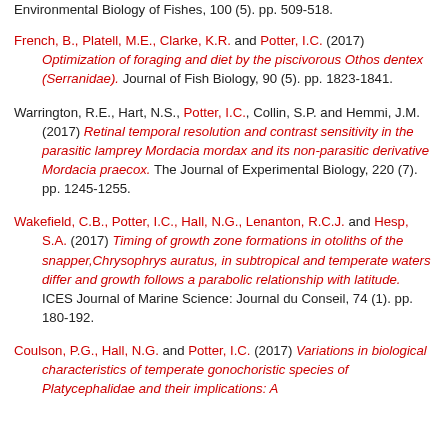French, B., Platell, M.E., Clarke, K.R. and Potter, I.C. (2017) Optimization of foraging and diet by the piscivorous Othos dentex (Serranidae). Journal of Fish Biology, 90 (5). pp. 1823-1841.
Warrington, R.E., Hart, N.S., Potter, I.C., Collin, S.P. and Hemmi, J.M. (2017) Retinal temporal resolution and contrast sensitivity in the parasitic lamprey Mordacia mordax and its non-parasitic derivative Mordacia praecox. The Journal of Experimental Biology, 220 (7). pp. 1245-1255.
Wakefield, C.B., Potter, I.C., Hall, N.G., Lenanton, R.C.J. and Hesp, S.A. (2017) Timing of growth zone formations in otoliths of the snapper,Chrysophrys auratus, in subtropical and temperate waters differ and growth follows a parabolic relationship with latitude. ICES Journal of Marine Science: Journal du Conseil, 74 (1). pp. 180-192.
Coulson, P.G., Hall, N.G. and Potter, I.C. (2017) Variations in biological characteristics of temperate gonochoristic species of Platycephalidae and their implications: A